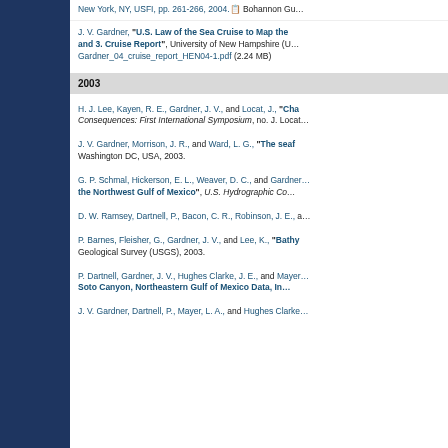New York, NY, USFI, pp. 261-266, 2004. Bohannon G...
J. V. Gardner, "U.S. Law of the Sea Cruise to Map the and 3. Cruise Report", University of New Hampshire (U... Gardner_04_cruise_report_HEN04-1.pdf (2.24 MB)
2003
H. J. Lee, Kayen, R. E., Gardner, J. V., and Locat, J., "Cha... Consequences: First International Symposium, no. J. Locat...
J. V. Gardner, Morrison, J. R., and Ward, L. G., "The seaf... Washington DC, USA, 2003.
G. P. Schmal, Hickerson, E. L., Weaver, D. C., and Gardner... the Northwest Gulf of Mexico", U.S. Hydrographic Co...
D. W. Ramsey, Dartnell, P., Bacon, C. R., Robinson, J. E., a...
P. Barnes, Fleisher, G., Gardner, J. V., and Lee, K., "Bathy... Geological Survey (USGS), 2003.
P. Dartnell, Gardner, J. V., Hughes Clarke, J. E., and Mayer... Soto Canyon, Northeastern Gulf of Mexico Data, In...
J. V. Gardner, Dartnell, P., Mayer, L. A., and Hughes Clarke...